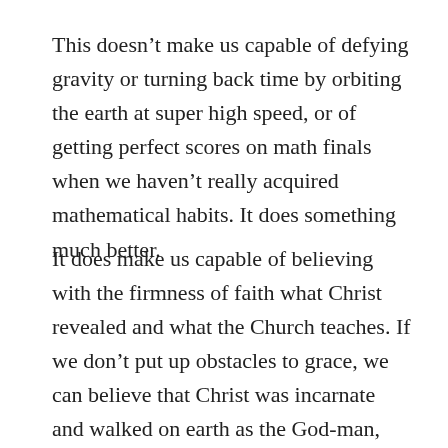This doesn't make us capable of defying gravity or turning back time by orbiting the earth at super high speed, or of getting perfect scores on math finals when we haven't really acquired mathematical habits. It does something much better.
It does make us capable of believing with the firmness of faith what Christ revealed and what the Church teaches. If we don't put up obstacles to grace, we can believe that Christ was incarnate and walked on earth as the God-man, that he suffered and died on the cross